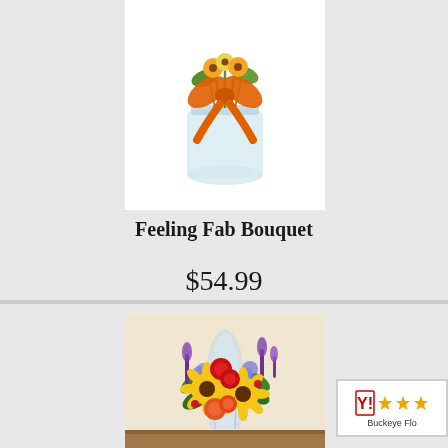[Figure (photo): Flower bouquet in a glass jar with an orange bow ribbon on top, partially cropped at top of page]
Feeling Fab Bouquet
$54.99
[Figure (photo): Colorful fall flower bouquet in a tall glass vase with sunflowers, red roses, orange ranunculus, and purple lavender flowers]
[Figure (logo): Buckeye Florist rating badge with Yahoo shopping stars rating showing 3 orange stars]